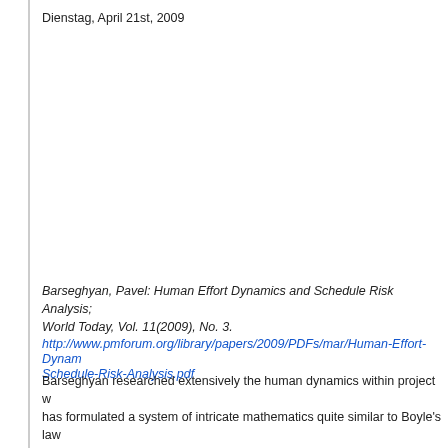Dienstag, April 21st, 2009
Barseghyan, Pavel: Human Effort Dynamics and Schedule Risk Analysis; World Today, Vol. 11(2009), No. 3.
http://www.pmforum.org/library/papers/2009/PDFs/mar/Human-Effort-Dynamics-Schedule-Risk-Analysis.pdf
Barseghyan researched extensively the human dynamics within project w... has formulated a system of intricate mathematics quite similar to Boyle's law... other gas laws. He establishes a simple set of formulas to schedule the... software developers.